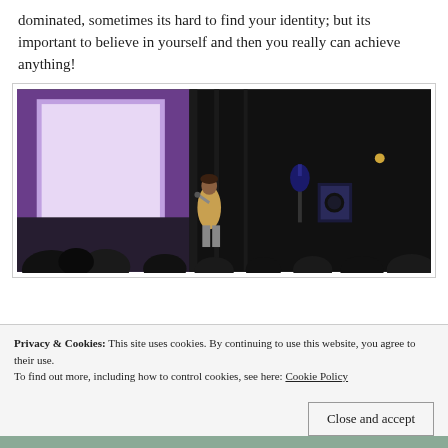dominated, sometimes its hard to find your identity; but its important to believe in yourself and then you really can achieve anything!
[Figure (photo): A person standing on a stage holding a microphone, with a purple-lit backdrop on the left and dark curtains on the right. A guitar and speaker are visible in the background. Audience members are silhouetted in the foreground.]
Privacy & Cookies: This site uses cookies. By continuing to use this website, you agree to their use.
To find out more, including how to control cookies, see here: Cookie Policy